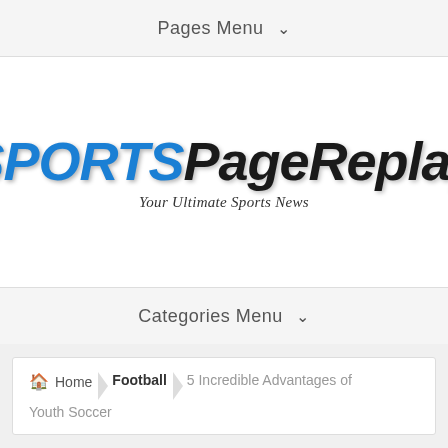Pages Menu ▾
[Figure (logo): SportsPageReplay logo — SPORTS in bold italic blue, PageReplay in bold italic black, tagline: Your Ultimate Sports News]
Categories Menu ▾
Home › Football › 5 Incredible Advantages of Youth Soccer